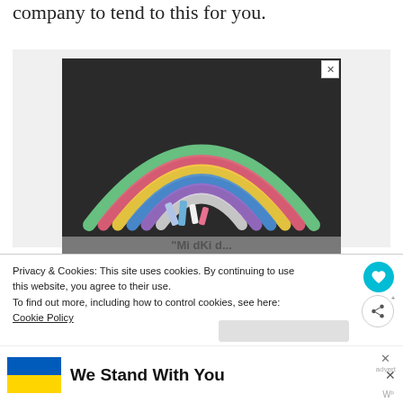company to tend to this for you.
[Figure (photo): A chalk rainbow drawn on dark asphalt/pavement. The rainbow has arcs of green, red/pink, yellow, blue, purple, and white chalk. Several chalk sticks are scattered at the base of the rainbow. Partial text visible at the bottom of the image.]
Privacy & Cookies: This site uses cookies. By continuing to use this website, you agree to their use.
To find out more, including how to control cookies, see here: Cookie Policy
[Figure (infographic): Ukraine support banner with blue and yellow flag and bold text reading 'We Stand With You'. Ad close buttons visible on the right side.]